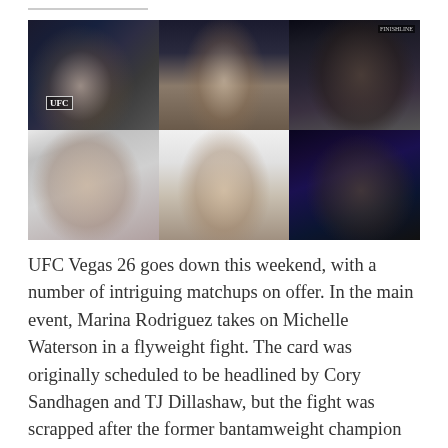[Figure (photo): A 2x3 grid of six MMA/UFC fighter photos: top row shows a female UFC fighter smiling, a male fighter standing shirtless in the octagon, and another male fighter; bottom row shows a female fighter with a flag/towel, a fighter posing with gloves raised, and a male fighter with blue background lighting.]
UFC Vegas 26 goes down this weekend, with a number of intriguing matchups on offer. In the main event, Marina Rodriguez takes on Michelle Waterson in a flyweight fight. The card was originally scheduled to be headlined by Cory Sandhagen and TJ Dillashaw, but the fight was scrapped after the former bantamweight champion had to withdraw due to injury.